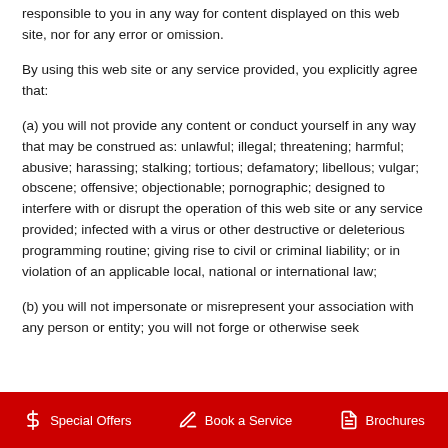responsible to you in any way for content displayed on this web site, nor for any error or omission.
By using this web site or any service provided, you explicitly agree that:
(a) you will not provide any content or conduct yourself in any way that may be construed as: unlawful; illegal; threatening; harmful; abusive; harassing; stalking; tortious; defamatory; libellous; vulgar; obscene; offensive; objectionable; pornographic; designed to interfere with or disrupt the operation of this web site or any service provided; infected with a virus or other destructive or deleterious programming routine; giving rise to civil or criminal liability; or in violation of an applicable local, national or international law;
(b) you will not impersonate or misrepresent your association with any person or entity; you will not forge or otherwise seek
$ Special Offers   Book a Service   Brochures